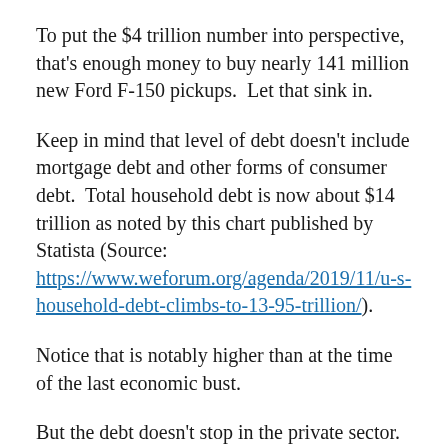To put the $4 trillion number into perspective, that's enough money to buy nearly 141 million new Ford F-150 pickups.  Let that sink in.
Keep in mind that level of debt doesn't include mortgage debt and other forms of consumer debt.  Total household debt is now about $14 trillion as noted by this chart published by Statista (Source: https://www.weforum.org/agenda/2019/11/u-s-household-debt-climbs-to-13-95-trillion/).
Notice that is notably higher than at the time of the last economic bust.
But the debt doesn't stop in the private sector.